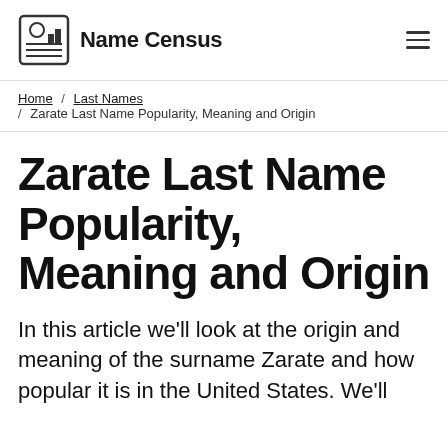Name Census
Home / Last Names / Zarate Last Name Popularity, Meaning and Origin
Zarate Last Name Popularity, Meaning and Origin
In this article we'll look at the origin and meaning of the surname Zarate and how popular it is in the United States. We'll